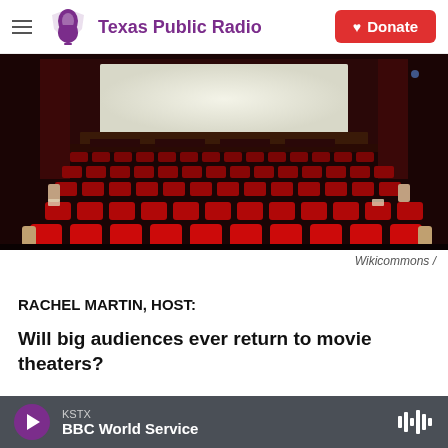Texas Public Radio | Donate
[Figure (photo): Interior of a movie theater with rows of empty red seats facing a large screen on a stage, dark warm lighting]
Wikicommons /
RACHEL MARTIN, HOST:
Will big audiences ever return to movie theaters?
KSTX BBC World Service